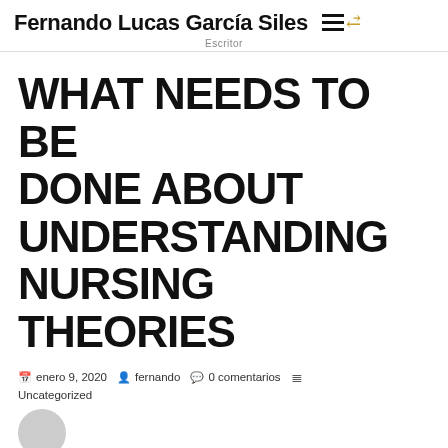Fernando Lucas García Siles — Escritor
WHAT NEEDS TO BE DONE ABOUT UNDERSTANDING NURSING THEORIES
enero 9, 2020  fernando  0 comentarios
Uncategorized